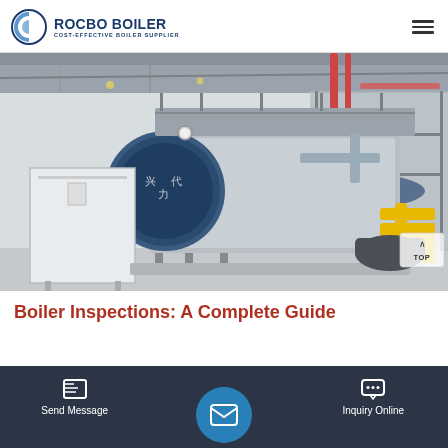[Figure (logo): Rocbo Boiler logo with circular wave icon and text 'ROCBO BOILER / COST-EFFECTIVE BOILER SUPPLIER']
[Figure (photo): Industrial boiler equipment in a factory setting. Large cylindrical blue-fronted boiler with silver insulated body, a white control cabinet on the left, scaffolding/platforms above, red piping, and yellow gas equipment on the right.]
Boiler Inspections: A Complete Guide
[Figure (screenshot): Mobile website footer navigation bar with dark background. Left button: Send Message with document icon. Center: circular blue email/envelope button. Right button: Inquiry Online with chat bubble icon. Center area shows partial article title overlay.]